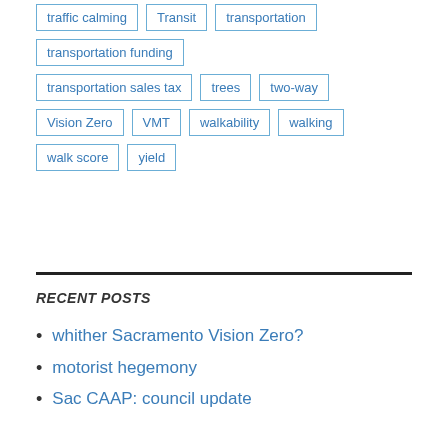traffic calming
Transit
transportation
transportation funding
transportation sales tax
trees
two-way
Vision Zero
VMT
walkability
walking
walk score
yield
RECENT POSTS
whither Sacramento Vision Zero?
motorist hegemony
Sac CAAP: council update